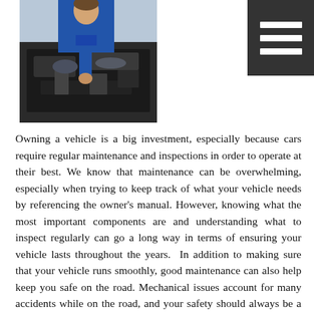[Figure (photo): A mechanic in blue coveralls working on a car engine, viewed from the side with the hood open.]
Owning a vehicle is a big investment, especially because cars require regular maintenance and inspections in order to operate at their best. We know that maintenance can be overwhelming, especially when trying to keep track of what your vehicle needs by referencing the owner's manual. However, knowing what the most important components are and understanding what to inspect regularly can go a long way in terms of ensuring your vehicle lasts throughout the years.  In addition to making sure that your vehicle runs smoothly, good maintenance can also help keep you safe on the road. Mechanical issues account for many accidents while on the road, and your safety should always be a number one priority.  Here are 10 items in which we believe are the most important to inspect on a regular basis when it comes to your vehicle:  Engine oil – never miss